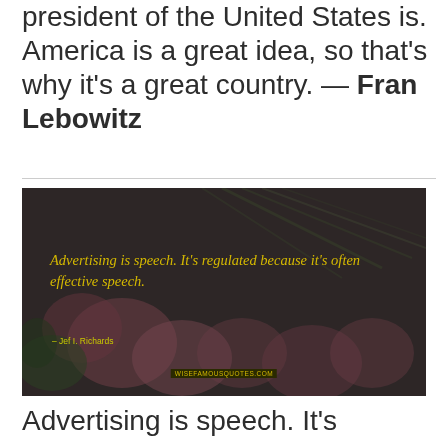president of the United States is. America is a great idea, so that's why it's a great country. — Fran Lebowitz
[Figure (photo): Dark-toned image with pink flowers and palm/pine leaves in background. Yellow italic text overlay reads: 'Advertising is speech. It's regulated because it's often effective speech.' Attribution: Jef I. Richards. Watermark: wisefamousquotes.com]
Advertising is speech. It's